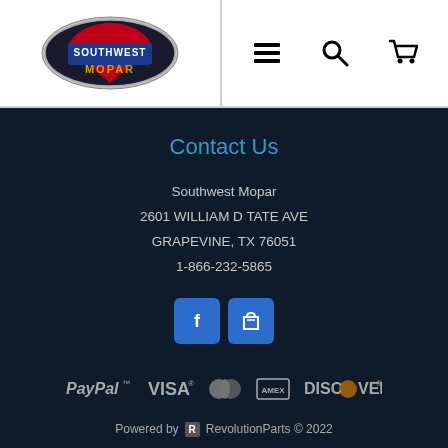[Figure (logo): Southwest Mopar logo — oval shield shape with red, white, blue colors and stylized text]
[Figure (infographic): Navigation icons: hamburger menu, search magnifier, shopping cart]
Contact Us
Southwest Mopar
2601 WILLIAM D TATE AVE
GRAPEVINE, TX 76051
1-866-232-5865
[Figure (infographic): Social media icons: Facebook (f) button and shopping bag icon, both in blue rounded squares]
[Figure (infographic): Payment method logos: PayPal, VISA, Mastercard, American Express, DISCOVER]
Powered by  RevolutionParts © 2022